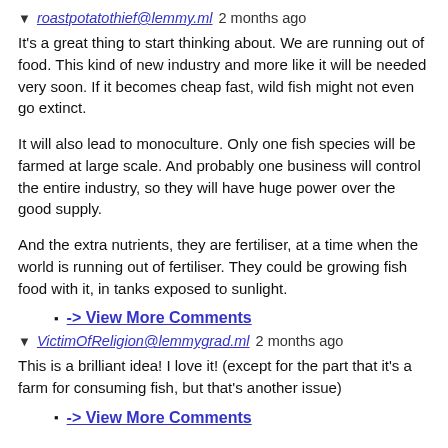▼ roastpotatothief@lemmy.ml 2 months ago
It's a great thing to start thinking about. We are running out of food. This kind of new industry and more like it will be needed very soon. If it becomes cheap fast, wild fish might not even go extinct.
It will also lead to monoculture. Only one fish species will be farmed at large scale. And probably one business will control the entire industry, so they will have huge power over the good supply.
And the extra nutrients, they are fertiliser, at a time when the world is running out of fertiliser. They could be growing fish food with it, in tanks exposed to sunlight.
-> View More Comments
▼ VictimOfReligion@lemmygrad.ml 2 months ago
This is a brilliant idea! I love it! (except for the part that it's a farm for consuming fish, but that's another issue)
-> View More Comments